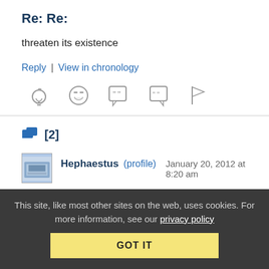Re: Re:
threaten its existence
Reply | View in chronology
[Figure (infographic): Row of five icons: lightbulb, laughing face, open-quote speech bubble, close-quote speech bubble, flag]
[2]
Hephaestus (profile) January 20, 2012 at 8:20 am
Re: Re:
This site, like most other sites on the web, uses cookies. For more information, see our privacy policy
GOT IT